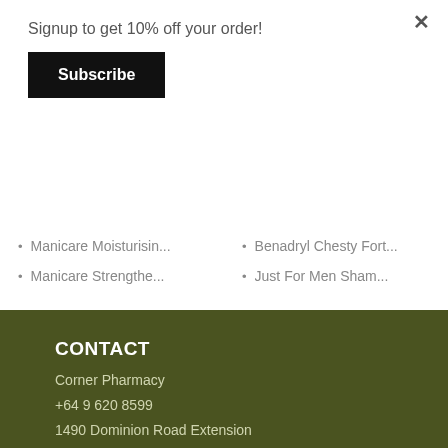Signup to get 10% off your order!
Subscribe
Manicare Moisturisin...
Benadryl Chesty Fort...
Manicare Strengthe...
Just For Men Sham...
CONTACT
Corner Pharmacy
+64 9 620 8599
1490 Dominion Road Extension
Mt Roskill
Auckland 1041